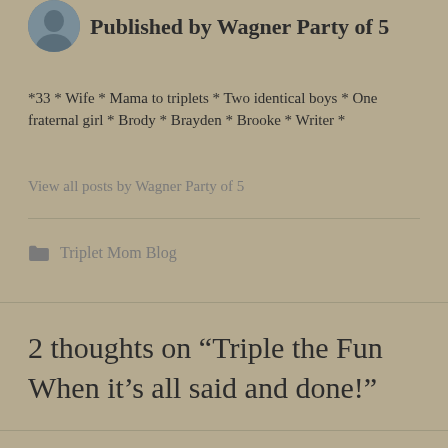[Figure (photo): Small circular avatar photo of a person outdoors]
Published by Wagner Party of 5
*33 * Wife * Mama to triplets * Two identical boys * One fraternal girl * Brody * Brayden * Brooke * Writer *
View all posts by Wagner Party of 5
Triplet Mom Blog
2 thoughts on “Triple the Fun When it’s all said and done!”